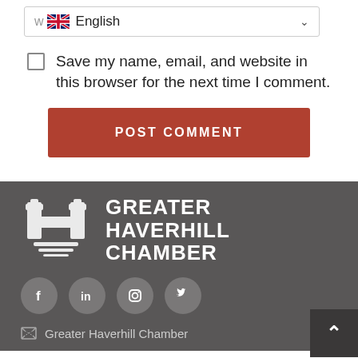[Figure (screenshot): Language selector dropdown showing UK flag and 'English' with a chevron arrow]
Save my name, email, and website in this browser for the next time I comment.
POST COMMENT
[Figure (logo): Greater Haverhill Chamber logo with stylized H icon and text]
[Figure (infographic): Social media icons: Facebook, LinkedIn, Instagram, Twitter]
Greater Haverhill Chamber